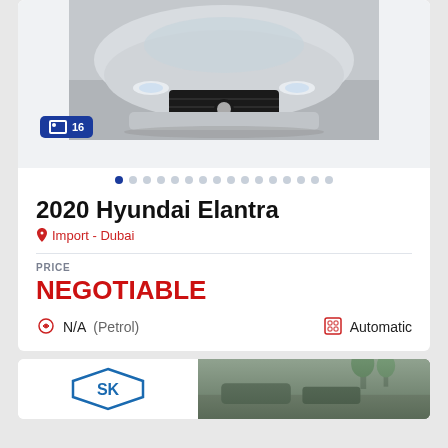[Figure (photo): Front view of a white/silver 2020 Hyundai Elantra car photographed from above/front angle on a paved surface]
16
2020 Hyundai Elantra
Import - Dubai
PRICE
NEGOTIABLE
N/A (Petrol)
Automatic
[Figure (logo): SK logo in a diamond/hexagon shape outline, blue color]